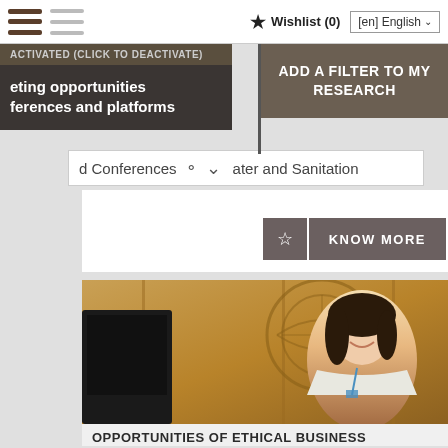Wishlist (0)  [en] English
ACTIVATED (CLICK TO DEACTIVATE)
ADD A FILTER TO MY RESEARCH
eting opportunities
ferences and platforms
d Conferences   Water and Sanitation
KNOW MORE
[Figure (photo): A smiling woman with dark hair seated in front of a UN emblem background (golden/wooden panel), wearing a white jacket and lanyard, with a dark monitor to the left.]
OPPORTUNITIES OF ETHICAL BUSINESS